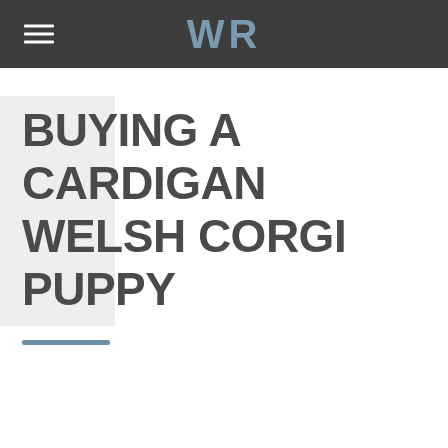WR
BUYING A CARDIGAN WELSH CORGI PUPPY